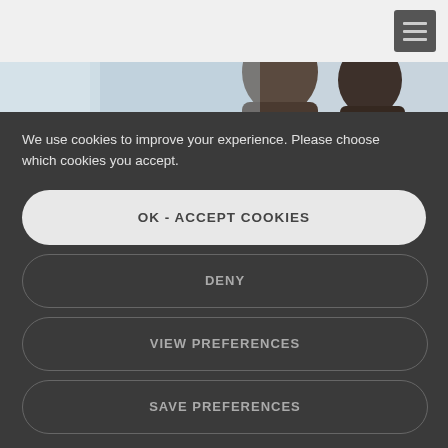[Figure (photo): Website header with hamburger menu icon in top right corner and a photo strip showing two people (partially visible heads/shoulders)]
We use cookies to improve your experience. Please choose which cookies you accept.
OK - ACCEPT COOKIES
DENY
VIEW PREFERENCES
SAVE PREFERENCES
Cookie policy  Privacy policy